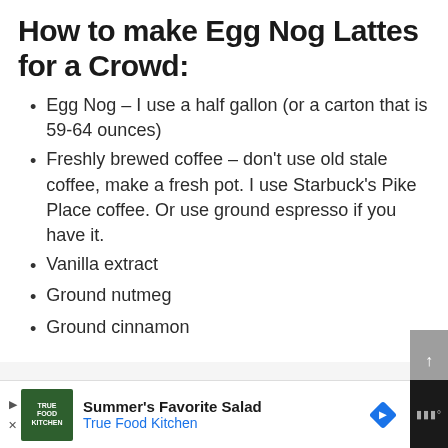How to make Egg Nog Lattes for a Crowd:
Egg Nog – I use a half gallon (or a carton that is 59-64 ounces)
Freshly brewed coffee – don't use old stale coffee, make a fresh pot. I use Starbuck's Pike Place coffee. Or use ground espresso if you have it.
Vanilla extract
Ground nutmeg
Ground cinnamon
Summer's Favorite Salad | True Food Kitchen